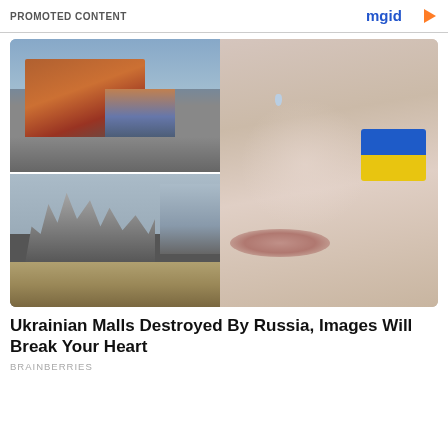PROMOTED CONTENT
[Figure (photo): Composite image: top-left shows an aerial view of a modern Ukrainian shopping mall (red-brown building), bottom-left shows the same or similar mall destroyed and burned (ruins, structural skeleton), right side shows a close-up of a person's face with a tear on cheek and the Ukrainian flag painted on the cheek (blue and yellow).]
Ukrainian Malls Destroyed By Russia, Images Will Break Your Heart
BRAINBERRIES